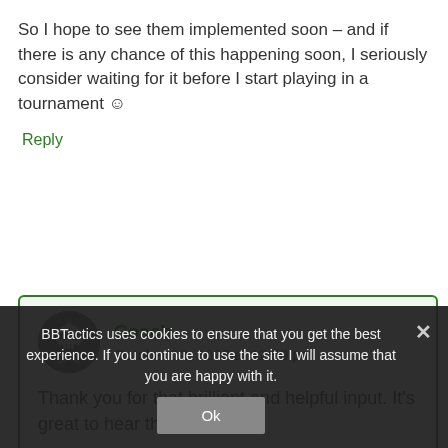So I hope to see them implemented soon – and if there is any chance of this happening soon, I seriously consider waiting for it before I start playing in a tournament 🙂
Reply
Coach
October 12, 2020 at 12:59 pm
Thank you for that brilliant and helpful input. It's great to hear the
BBTactics uses cookies to ensure that you get the best experience. If you continue to use the site I will assume that you are happy with it.
Ok